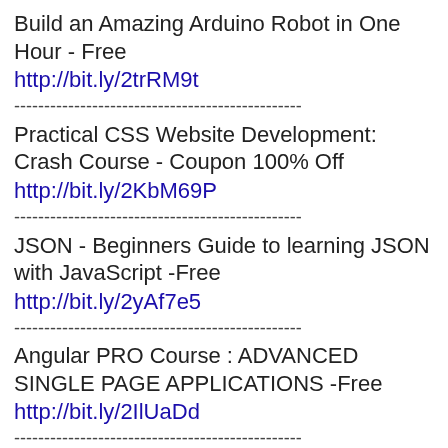Build an Amazing Arduino Robot in One Hour - Free
http://bit.ly/2trRM9t
------------------------------------------------
Practical CSS Website Development: Crash Course - Coupon 100% Off
http://bit.ly/2KbM69P
------------------------------------------------
JSON - Beginners Guide to learning JSON with JavaScript -Free
http://bit.ly/2yAf7e5
------------------------------------------------
Angular PRO Course : ADVANCED SINGLE PAGE APPLICATIONS -Free
http://bit.ly/2IlUaDd
------------------------------------------------
Business Model Innovation:Start A Membership Based Business. - Coupon 100% Off